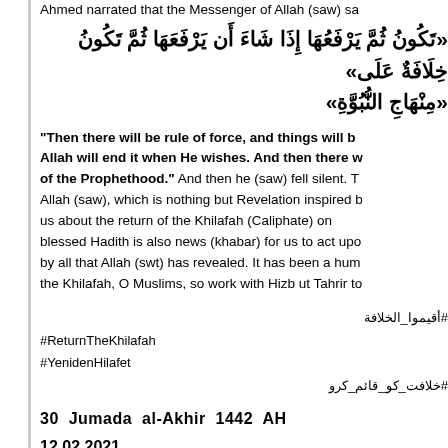Ahmed narrated that the Messenger of Allah (saw) sa
«تَكُونُ ثُمَّ يَرْفَعُهَا إِذَا شَاءَ أَن يَرْفَعَهَا ثُمَّ تَكُونُ خِلَاقَةٌ عَلَى «مِنْهَاجِ النُّبُوَّةِ»
"Then there will be rule of force, and things will be. Allah will end it when He wishes. And then there will be rule of the Prophethood." And then he (saw) fell silent. This is the speech of the Messenger of Allah (saw), which is nothing but Revelation inspired by Allah. It gave us about the return of the Khilafah (Caliphate) on the method of Prophethood. This blessed Hadith is also news (khabar) for us to act upon, for it is the obligation to be guided by all that Allah (swt) has revealed. It has been a hundred years since the fall of the Khilafah, O Muslims, so work with Hizb ut Tahrir to
#أقيموا_الخلافة
#ReturnTheKhilafah
#YenidenHilafet
#خلافت_کو_قائم_کرو
30 Jumada al-Akhir 1442 AH
12.02.2021